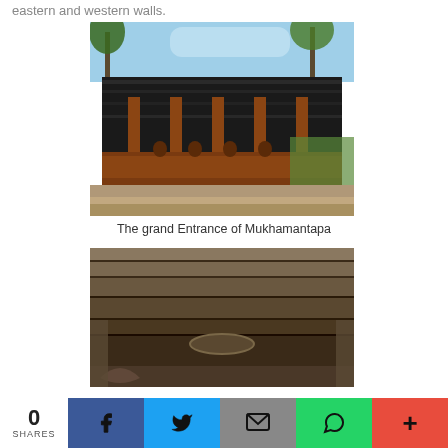eastern and western walls.
[Figure (photo): Photo of the grand entrance of Mukhamantapa temple - a large stone temple structure with dark roof, reddish-brown walls, palm trees in background against blue sky]
The grand Entrance of Mukhamantapa
[Figure (photo): Close-up photo of stone ceiling/interior architectural detail of the temple, showing layered stone ceiling with decorative oval element]
0 SHARES  [Facebook] [Twitter] [Email] [WhatsApp] [More]